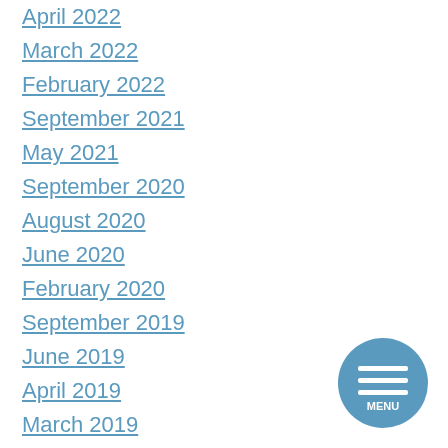April 2022
March 2022
February 2022
September 2021
May 2021
September 2020
August 2020
June 2020
February 2020
September 2019
June 2019
April 2019
March 2019
[Figure (other): Blue circular menu button with three horizontal white lines and MENU label]